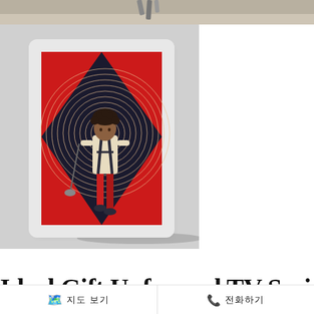[Figure (photo): Top portion of page showing a wooden floor/table surface with a chair leg visible, serving as background for a product display]
[Figure (illustration): Framed art print displayed against a light grey wall. The print shows a stylized illustration of a person (musician/performer) standing confidently, depicted in a bold graphic style with red, dark navy/black, and cream colors. The figure has curly hair and holds what appears to be a microphone stand. Concentric circle lines radiate behind the figure on a red background. The print is in a white frame.]
Ideal Gift Unframed TV Series...
지도 보기
전화하기